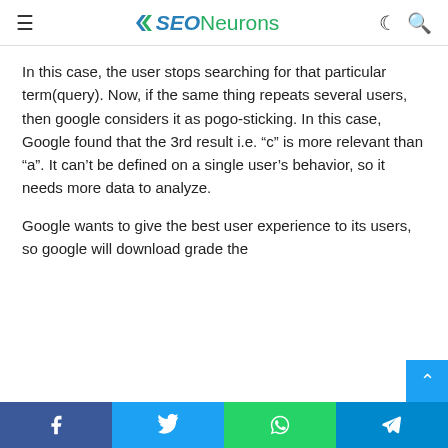SEONeurons
In this case, the user stops searching for that particular term(query). Now, if the same thing repeats several users, then google considers it as pogo-sticking. In this case, Google found that the 3rd result i.e. “c” is more relevant than “a”. It can’t be defined on a single user’s behavior, so it needs more data to analyze.
Google wants to give the best user experience to its users, so google will download grade the